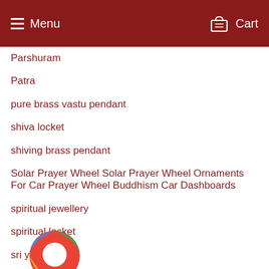Menu  Cart
Parshuram
Patra
pure brass vastu pendant
shiva locket
shiving brass pendant
Solar Prayer Wheel Solar Prayer Wheel Ornaments For Car Prayer Wheel Buddhism Car Dashboards
spiritual jewellery
spiritual locket
sri yantra
Symbol Of Lord Shiva Ek Mukhi Rudraksha Spirituality and Moksha Half-Moon and Cashew-Shape World of Meditation Curing Diseases Astrology
Te...
T...va...
Vastu Shastra Chakra Watch On Tortoise Hindu mythology Lord Vishnu Kurma Avatar 12 Zodiac Signs Birth Chart Vastu Cure